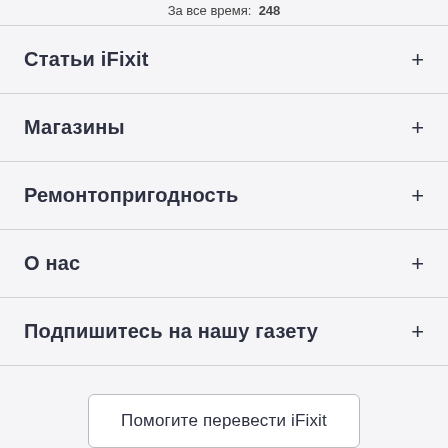За все время:  248
Статьи iFixit
Магазины
Ремонтопригодность
О нас
Подпишитесь на нашу газету
Помогите перевести iFixit